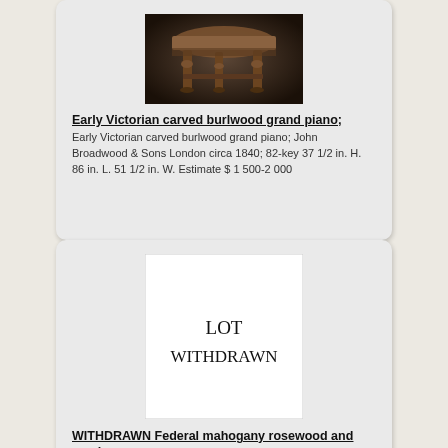[Figure (photo): Photo of an Early Victorian carved burlwood grand piano viewed from below/side showing ornate carved legs]
Early Victorian carved burlwood grand piano;
Early Victorian carved burlwood grand piano; John Broadwood & Sons London circa 1840; 82-key 37 1/2 in. H. 86 in. L. 51 1/2 in. W. Estimate $ 1 500-2 000
[Figure (illustration): Placeholder box reading LOT WITHDRAWN in serif font]
WITHDRAWN Federal mahogany rosewood and maple
WITHDRAWN Federal mahogany rosewood and maple writing desk bearing the label John Broadwood & Sons London 37